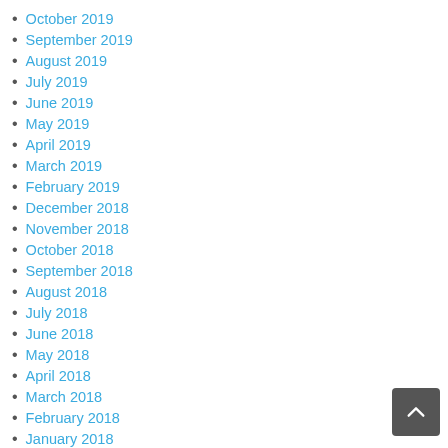October 2019
September 2019
August 2019
July 2019
June 2019
May 2019
April 2019
March 2019
February 2019
December 2018
November 2018
October 2018
September 2018
August 2018
July 2018
June 2018
May 2018
April 2018
March 2018
February 2018
January 2018